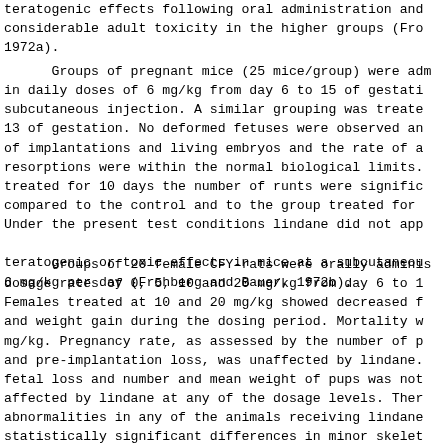teratogenic effects following oral administration and considerable adult toxicity in the higher groups (Frohberg, 1972a).
Groups of pregnant mice (25 mice/group) were administered in daily doses of 6 mg/kg from day 6 to 15 of gestation by subcutaneous injection. A similar grouping was treated from day 6 to 13 of gestation. No deformed fetuses were observed and the number of implantations and living embryos and the rate of early resorptions were within the normal biological limits. In the group treated for 10 days the number of runts were significantly increased compared to the control and to the group treated for 7 days. Under the present test conditions lindane did not appear to exert teratogenic or toxic effects in mice at a subcutaneous dose of 6 mg/kg per day (Frohberg and Bauer, 1972b).
Groups of 20 female CFY-rats were orally administered lindane at dosage rates of 0, 5, 10 and 20 mg/kg from day 6 to 15 of gestation. Females treated at 10 and 20 mg/kg showed decreased food consumption and weight gain during the dosing period. Mortality was noted at 20 mg/kg. Pregnancy rate, as assessed by the number of pregnancies and pre-implantation loss, was unaffected by lindane. Post-implantation fetal loss and number and mean weight of pups was not significantly affected by lindane at any of the dosage levels. There were no major abnormalities in any of the animals receiving lindane although statistically significant differences in minor skeletal variations (an extra rib) was evident at 20 mg/kg. Supplementary evidence suggests the only significant feature of this test resulting from maternal toxicity following administration of lindane. The teratogenic potential therefore is not great as the incidence of this skeletal abnormality i...